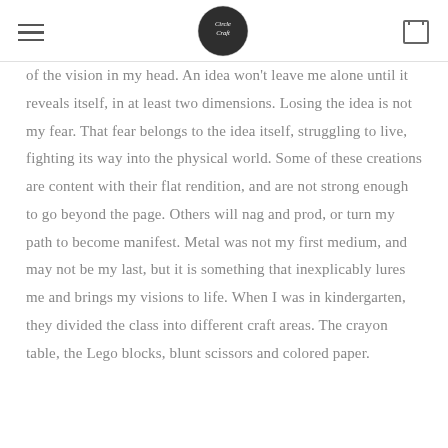Circle Craft
of the vision in my head. An idea won't leave me alone until it reveals itself, in at least two dimensions. Losing the idea is not my fear. That fear belongs to the idea itself, struggling to live, fighting its way into the physical world. Some of these creations are content with their flat rendition, and are not strong enough to go beyond the page. Others will nag and prod, or turn my path to become manifest. Metal was not my first medium, and may not be my last, but it is something that inexplicably lures me and brings my visions to life. When I was in kindergarten, they divided the class into different craft areas. The crayon table, the Lego blocks, blunt scissors and colored paper.